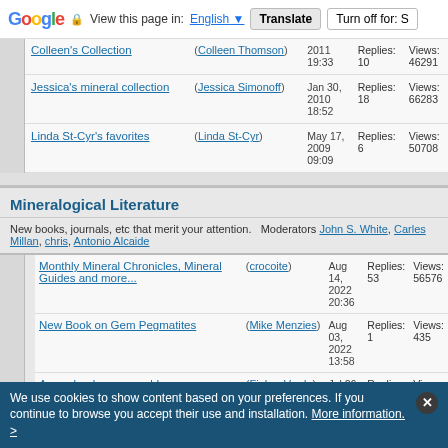Google | View this page in: English | Translate | Turn off for: S
| Topic | Author | Date | Stats |
| --- | --- | --- | --- |
| Colleen's Collection | (Colleen Thomson) | 2011 19:33 | Replies: 10
Views: 46291 |
| Jessica's mineral collection | (Jessica Simonoff) | Jan 30, 2010 18:52 | Replies: 18
Views: 66283 |
| Linda St-Cyr's favorites | (Linda St-Cyr) | May 17, 2009 09:09 | Replies: 6
Views: 50708 |
Mineralogical Literature
New books, journals, etc that merit your attention.  Moderators John S. White, Carles Millan, chris, Antonio Alcaide
| Topic | Author | Date | Stats |
| --- | --- | --- | --- |
| Monthly Mineral Chronicles, Mineral Guides and more... | (crocoite) | Aug 14, 2022 20:36 | Replies: 53
Views: 56576 |
| New Book on Gem Pegmatites | (Mike Menzies) | Aug 03, 2022 13:58 | Replies: 1
Views: 435 |
| A new book on emeralds | (Fiebre Verde) | Jul 26, 2022 14:57 | Replies: 2
Views: 652 |
We use cookies to show content based on your preferences. If you continue to browse you accept their use and installation. More information. >